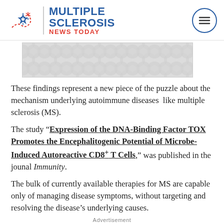Multiple Sclerosis News Today
[Figure (other): Advertisement banner with decorative pattern of overlapping grey circles on light grey background]
These findings represent a new piece of the puzzle about the mechanism underlying autoimmune diseases  like multiple sclerosis (MS).
The study “Expression of the DNA-Binding Factor TOX Promotes the Encephalitogenic Potential of Microbe-Induced Autoreactive CD8⁺ T Cells,” was published in the jounal Immunity.
The bulk of currently available therapies for MS are capable only of managing disease symptoms, without targeting and resolving the disease’s underlying causes.
Advertisement